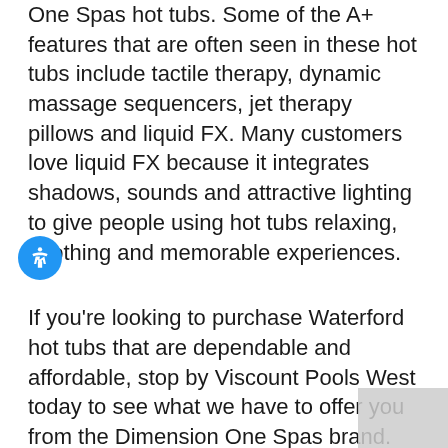One Spas hot tubs. Some of the A+ features that are often seen in these hot tubs include tactile therapy, dynamic massage sequencers, jet therapy pillows and liquid FX. Many customers love liquid FX because it integrates shadows, sounds and attractive lighting to give people using hot tubs relaxing, soothing and memorable experiences.
If you're looking to purchase Waterford hot tubs that are dependable and affordable, stop by Viscount Pools West today to see what we have to offer you from the Dimension One Spas brand. Waterford hot tubs can be inexpensive, attractive and sturdy, and all at the same time. When you need excellent hot tubs Warford style, come see us at Viscount Pools West ASAP.